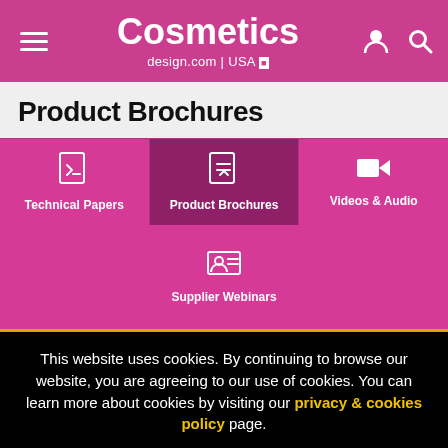Cosmetics design.com | USA
Product Brochures
[Figure (screenshot): Navigation tab menu with four category tabs: Technical Papers, Product Brochures (active/selected), Videos & Audio, and Supplier Webinars. Pink/magenta background with white icons and bold white text labels.]
This website uses cookies. By continuing to browse our website, you are agreeing to our use of cookies. You can learn more about cookies by visiting our privacy & cookies policy page.
I Agree